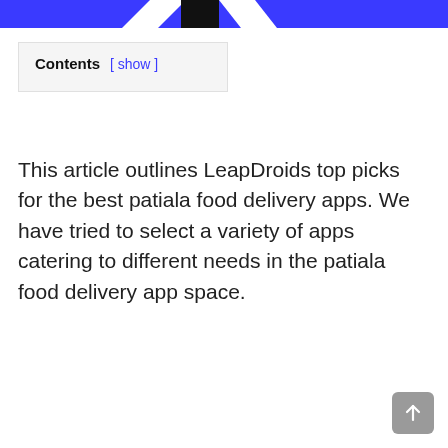Contents [ show ]
This article outlines LeapDroids top picks for the best patiala food delivery apps. We have tried to select a variety of apps catering to different needs in the patiala food delivery app space.